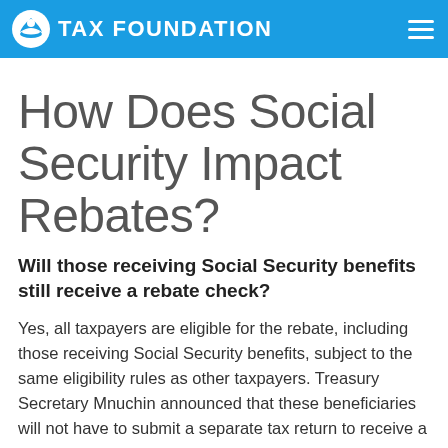TAX FOUNDATION
How Does Social Security Impact Rebates?
Will those receiving Social Security benefits still receive a rebate check?
Yes, all taxpayers are eligible for the rebate, including those receiving Social Security benefits, subject to the same eligibility rules as other taxpayers. Treasury Secretary Mnuchin announced that these beneficiaries will not have to submit a separate tax return to receive a rebate. The payment will be sent directly to their bank account associated with those benefits. Back to top